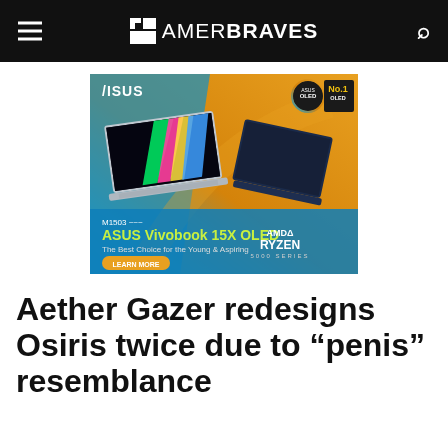GAMERBRAVES
[Figure (illustration): ASUS Vivobook 15X OLED advertisement banner. Orange and blue gradient background with two ASUS laptops displayed. Text: M1503, ASUS Vivobook 15X OLED, The Best Choice for the Young & Aspiring, LEARN MORE button, AMD RYZEN 5000 SERIES logo. ASUS OLED badge and No.1 OLED badge in top right.]
Aether Gazer redesigns Osiris twice due to “penis” resemblance